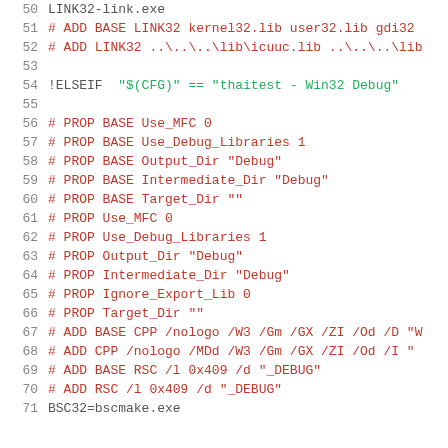50    LINK32-link.exe
51    # ADD BASE LINK32 kernel32.lib user32.lib gdi32
52    # ADD LINK32 ..\..\..\lib\icuuc.lib ..\..\..\lib
53
54    !ELSEIF  "$(CFG)" == "thaitest - Win32 Debug"
55
56    # PROP BASE Use_MFC 0
57    # PROP BASE Use_Debug_Libraries 1
58    # PROP BASE Output_Dir "Debug"
59    # PROP BASE Intermediate_Dir "Debug"
60    # PROP BASE Target_Dir ""
61    # PROP Use_MFC 0
62    # PROP Use_Debug_Libraries 1
63    # PROP Output_Dir "Debug"
64    # PROP Intermediate_Dir "Debug"
65    # PROP Ignore_Export_Lib 0
66    # PROP Target_Dir ""
67    # ADD BASE CPP /nologo /W3 /Gm /GX /ZI /Od /D "W
68    # ADD CPP /nologo /MDd /W3 /Gm /GX /ZI /Od /I "
69    # ADD BASE RSC /l 0x409 /d "_DEBUG"
70    # ADD RSC /l 0x409 /d "_DEBUG"
71    BSC32=bscmake.exe